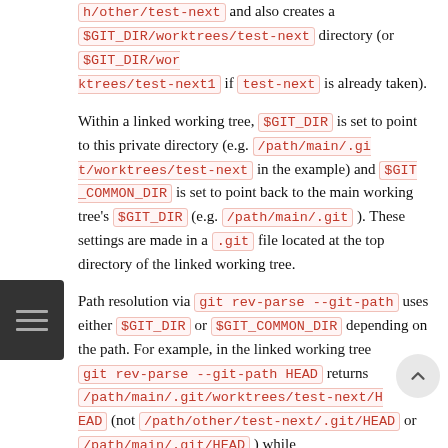h/other/test-next and also creates a $GIT_DIR/worktrees/test-next directory (or $GIT_DIR/worktrees/test-next1 if test-next is already taken).
Within a linked working tree, $GIT_DIR is set to point to this private directory (e.g. /path/main/.git/worktrees/test-next in the example) and $GIT_COMMON_DIR is set to point back to the main working tree's $GIT_DIR (e.g. /path/main/.git ). These settings are made in a .git file located at the top directory of the linked working tree.
Path resolution via git rev-parse --git-path uses either $GIT_DIR or $GIT_COMMON_DIR depending on the path. For example, in the linked working tree git rev-parse --git-path HEAD returns /path/main/.git/worktrees/test-next/HEAD (not /path/other/test-next/.git/HEAD or /path/main/.git/HEAD ) while git rev-parse --git-path refs/heads/master uses $GIT_COMMON_DIR and returns /path/main/.git/refs/heads/ma